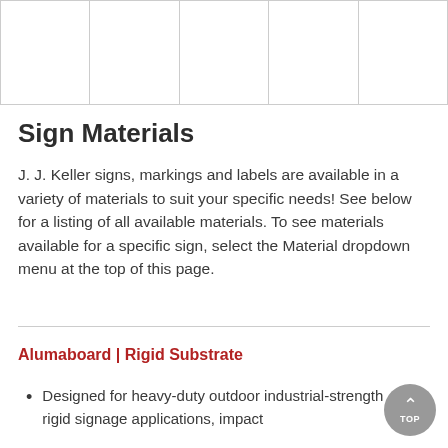|  |  |  |  |  |
Sign Materials
J. J. Keller signs, markings and labels are available in a variety of materials to suit your specific needs! See below for a listing of all available materials. To see materials available for a specific sign, select the Material dropdown menu at the top of this page.
Alumaboard | Rigid Substrate
Designed for heavy-duty outdoor industrial-strength rigid signage applications, impact